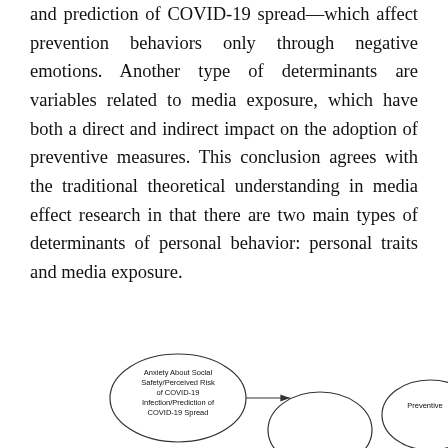and prediction of COVID-19 spread—which affect prevention behaviors only through negative emotions. Another type of determinants are variables related to media exposure, which have both a direct and indirect impact on the adoption of preventive measures. This conclusion agrees with the traditional theoretical understanding in media effect research in that there are two main types of determinants of personal behavior: personal traits and media exposure.
[Figure (flowchart): Partial flowchart showing an ellipse labeled 'Anxiety About Social Safety/Perceived Risk of COVID-19 Infection/Prediction of COVID-19 Spread' with an arrow pointing right, and another ellipse partially visible on the right side.]